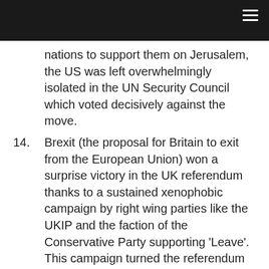☰
nations to support them on Jerusalem, the US was left overwhelmingly isolated in the UN Security Council which voted decisively against the move.
14. Brexit (the proposal for Britain to exit from the European Union) won a surprise victory in the UK referendum thanks to a sustained xenophobic campaign by right wing parties like the UKIP and the faction of the Conservative Party supporting 'Leave'. This campaign turned the referendum on Brexit into a referendum on immigrants and refugees, using widespread anger and anxiety about austerity measures to fuel its racist agenda. The Brexit victory in the UK was followed by a marked uptick in racial,